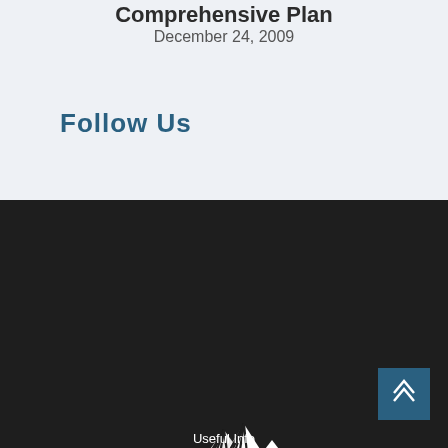Comprehensive Plan
December 24, 2009
Follow Us
[Figure (logo): Frederick Land Company logo — white text on dark background with mountain/house icon and tagline 'Comprehensive Real Estate Services']
Useful Info